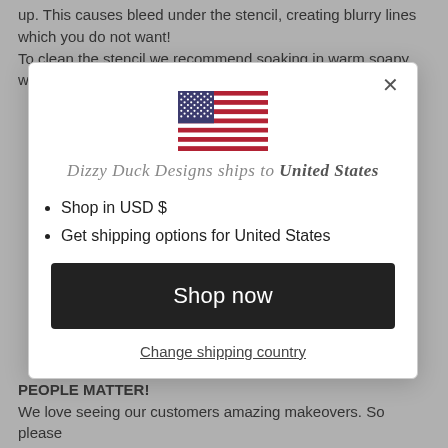up. This causes bleed under the stencil, creating blurry lines which you do not want! To clean the stencil we recommend soaking in warm soapy water until the paint easily rubs off, no vigorous scrubbing
[Figure (illustration): US flag icon]
Dizzy Duck Designs ships to United States
Shop in USD $
Get shipping options for United States
Shop now
Change shipping country
PEOPLE MATTER! We love seeing our customers amazing makeovers. So please